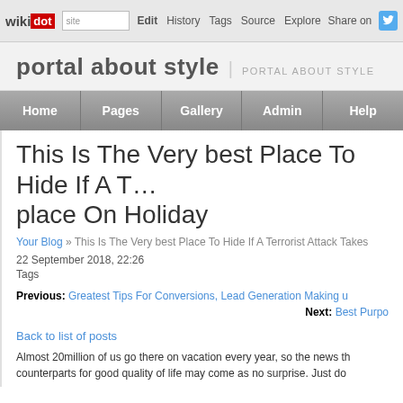wikidot | site | Edit | History | Tags | Source | Explore | Share on [Twitter]
portal about style | PORTAL ABOUT STYLE
Home | Pages | Gallery | Admin | Help
This Is The Very best Place To Hide If A Terrorist Attack Takes place On Holiday
Your Blog » This Is The Very best Place To Hide If A Terrorist Attack Takes
22 September 2018, 22:26
Tags
Previous: Greatest Tips For Conversions, Lead Generation Making u
Next: Best Purpo
Back to list of posts
Almost 20million of us go there on vacation every year, so the news th counterparts for good quality of life may come as no surprise. Just do